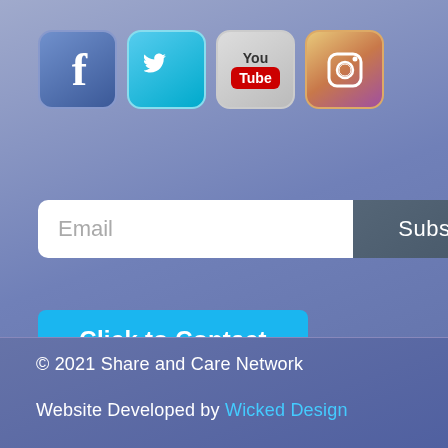[Figure (illustration): Four social media icon buttons: Facebook (blue F), Twitter (teal bird), YouTube (gray box with red YouTube label), Instagram (camera on gradient background)]
[Figure (screenshot): Email subscription form with white email input field labeled 'Email' and dark gray 'Subscribe' button]
[Figure (illustration): Bright blue 'Click to Contact' button]
© 2021 Share and Care Network
Website Developed by Wicked Design